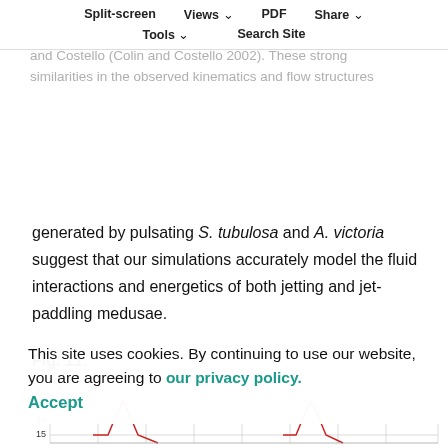Split-screen  Views  PDF  Share  Tools  Search Site
likely to be due to differences in size, in that our S. tubulosa was about 1.5 times larger than the medusa used by Colin and Costello (Colin and Costello 2002). These strong similarities in the observed kinematics and flow structures generated by pulsating S. tubulosa and A. victoria suggest that our simulations accurately model the fluid interactions and energetics of both jetting and jet-paddling medusae.
Fig. 11.
[Figure (continuous-plot): Panel A of Fig. 11: a line chart showing two sharp red peaks around y=23 on a grid with y-axis values visible at 15, 20, 25, 30. The x-axis is partially cut off at the bottom of the page.]
This site uses cookies. By continuing to use our website, you are agreeing to our privacy policy.
Accept